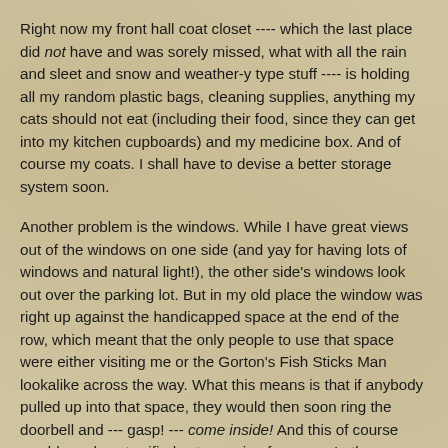Right now my front hall coat closet ---- which the last place did not have and was sorely missed, what with all the rain and sleet and snow and weather-y type stuff ---- is holding all my random plastic bags, cleaning supplies, anything my cats should not eat (including their food, since they can get into my kitchen cupboards) and my medicine box. And of course my coats. I shall have to devise a better storage system soon.
Another problem is the windows. While I have great views out of the windows on one side (and yay for having lots of windows and natural light!), the other side's windows look out over the parking lot. But in my old place the window was right up against the handicapped space at the end of the row, which meant that the only people to use that space were either visiting me or the Gorton's Fish Sticks Man lookalike across the way. What this means is that if anybody pulled up into that space, they would then soon ring the doorbell and --- gasp! --- come inside! And this of course would send my terrified cats running for cover. In the new place, however, the window right by the kitchen table looks